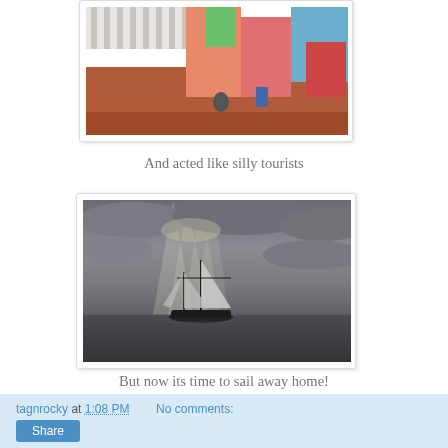[Figure (photo): Partial view of people dressed as tourists, showing colorful clothing, near a fence — bottom portion of an illustration or painting]
And acted like silly tourists
[Figure (photo): A tall sailing ship with two masts on the open sea under a dramatically lit overcast sky with rays of light breaking through clouds]
But now its time to sail away home!
So long Key West!
tagnrocky at 1:08 PM   No comments: